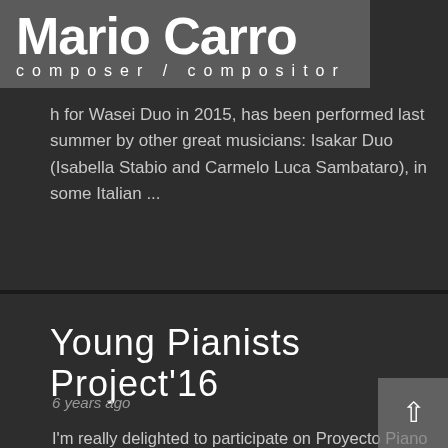Mario Carro composer / compositor
h for Wasei Duo in 2015, has been performed last summer by other great musicians: Isakar Duo (Isabella Stabio and Carmelo Luca Sambataro), in some Italian ...
Read more ...
Young Pianists Project'16
6 years ago
I'm really delighted to participate on Proyecto Piano Joven'16. This year, Impromptu (2010) will be performed by young pianist Carlos Urraca in Bruxelles and in other spanish cities.